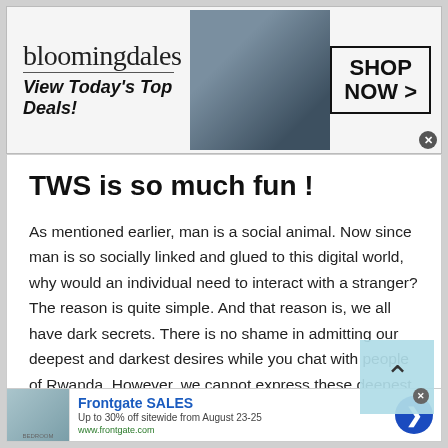[Figure (screenshot): Bloomingdale's advertisement banner: logo text 'bloomingdales', tagline 'View Today's Top Deals!', woman in large blue hat, 'SHOP NOW >' button box]
TWS is so much fun !
As mentioned earlier, man is a social animal. Now since man is so socially linked and glued to this digital world, why would an individual need to interact with a stranger? The reason is quite simple. And that reason is, we all have dark secrets. There is no shame in admitting our deepest and darkest desires while you chat with people of Rwanda. However, we cannot express these deepest and
[Figure (screenshot): Frontgate SALES advertisement: bedroom image, text 'Frontgate SALES Up to 30% off sitewide from August 23-25 www.frontgate.com', blue circular arrow button]